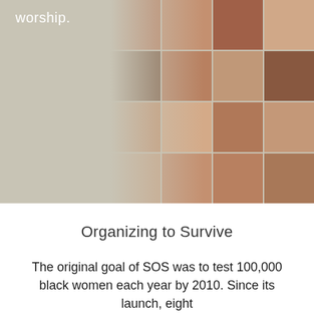worship.
[Figure (photo): Collage of diverse human faces arranged in a grid on a tan/beige background, with a silhouette head shape overlaid on the left side of the collage]
Organizing to Survive
The original goal of SOS was to test 100,000 black women each year by 2010. Since its launch, eight